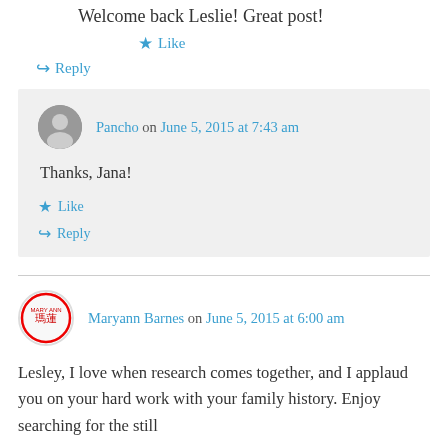Welcome back Leslie! Great post!
★ Like
↪ Reply
Pancho on June 5, 2015 at 7:43 am
Thanks, Jana!
★ Like
↪ Reply
Maryann Barnes on June 5, 2015 at 6:00 am
Lesley, I love when research comes together, and I applaud you on your hard work with your family history. Enjoy searching for the still